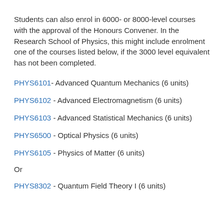Students can also enrol in 6000- or 8000-level courses with the approval of the Honours Convener. In the Research School of Physics, this might include enrolment one of the courses listed below, if the 3000 level equivalent has not been completed.
PHYS6101 - Advanced Quantum Mechanics (6 units)
PHYS6102 - Advanced Electromagnetism (6 units)
PHYS6103 - Advanced Statistical Mechanics (6 units)
PHYS6500 - Optical Physics (6 units)
PHYS6105 - Physics of Matter (6 units)
Or
PHYS8302 - Quantum Field Theory I (6 units)